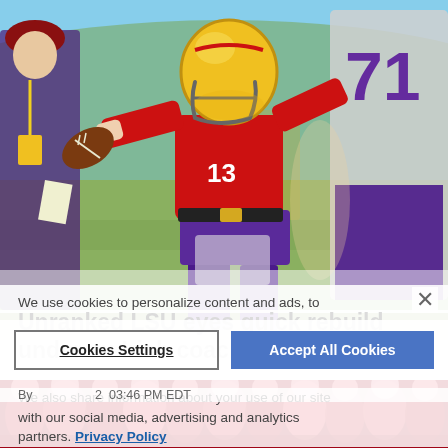[Figure (photo): LSU quarterback in yellow helmet and red jersey throwing a football during practice, with player #71 in white and purple in background, and a coach on the left]
We use cookies to personalize content and ads, to
Unranked LSU eyes quick rebuild under ex-Irish coach Kelly
We also share information about your use of our site with our social media, advertising and analytics partners. Privacy Policy
By [author] 2 03:46 PM EDT
[Figure (photo): Crowd of fans in red at bottom strip]
Cookies Settings
Accept All Cookies